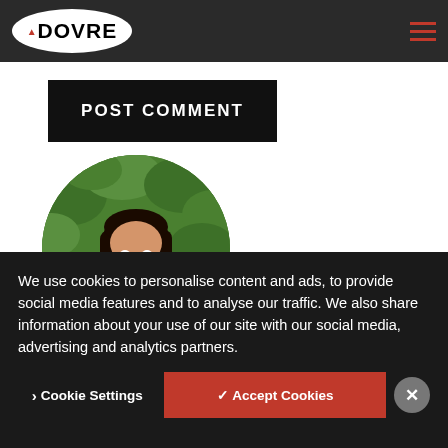DOVRE
email, and website in this browser
for the next time I comment.
POST COMMENT
[Figure (photo): Circular profile photo of a woman with long dark hair, wearing a grey blazer and floral top, smiling, with green foliage background]
Posted by Annabelle on February 18, 2019
We use cookies to personalise content and ads, to provide social media features and to analyse our traffic. We also share information about your use of our site with our social media, advertising and analytics partners.
Cookie Settings
✓ Accept Cookies